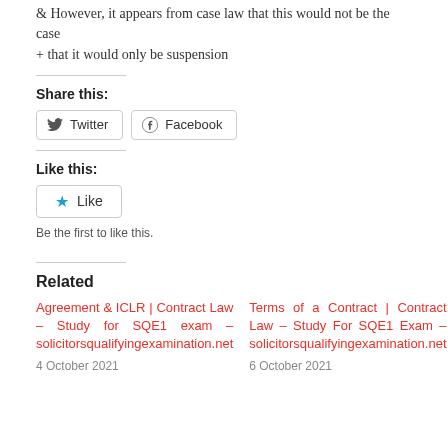& However, it appears from case law that this would not be the case
+ that it would only be suspension
Share this:
[Figure (other): Share buttons for Twitter and Facebook]
Like this:
[Figure (other): Like button with star icon]
Be the first to like this.
Related
Agreement & ICLR | Contract Law – Study for SQE1 exam – solicitorsqualifyingexamination.net
4 October 2021
Terms of a Contract | Contract Law – Study For SQE1 Exam – solicitorsqualifyingexamination.net
6 October 2021